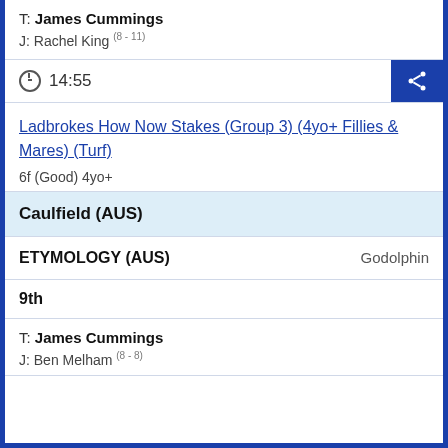T: James Cummings
J: Rachel King (8 - 11)
14:55
Ladbrokes How Now Stakes (Group 3) (4yo+ Fillies & Mares) (Turf)
6f (Good) 4yo+
Caulfield (AUS)
ETYMOLOGY (AUS)   Godolphin
9th
T: James Cummings
J: Ben Melham (8 - 8)